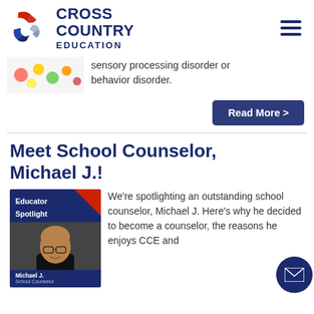[Figure (logo): Cross Country Education logo with red/blue chevron icon and dark blue text reading CROSS COUNTRY EDUCATION]
[Figure (photo): Small thumbnail photo of colorful candy/sweets]
sensory processing disorder or behavior disorder.
Read More >
Meet School Counselor, Michael J.!
[Figure (photo): Educator Spotlight card showing Michael J., School Counselor, a bald man with glasses wearing a black shirt, with dark blue background and red/white accent stripe]
We're spotlighting an outstanding school counselor, Michael J. Here's why he decided to become a counselor, the reasons he enjoys CCE and